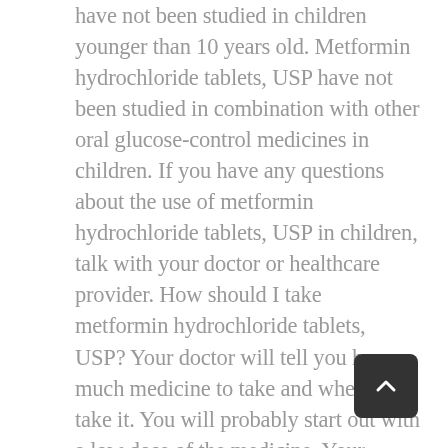have not been studied in children younger than 10 years old. Metformin hydrochloride tablets, USP have not been studied in combination with other oral glucose-control medicines in children. If you have any questions about the use of metformin hydrochloride tablets, USP in children, talk with your doctor or healthcare provider. How should I take metformin hydrochloride tablets, USP? Your doctor will tell you how much medicine to take and when to take it. You will probably start out with a low dose of the medicine. Your doctor may slowly increase your dose until your blood sugar is better controlled. You should take metformin with meals. Your doctor may have you take other medicines along with metformin to control your blood sugar. These medicines may include